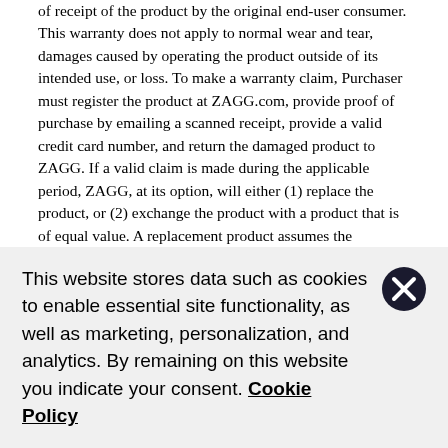of receipt of the product by the original end-user consumer. This warranty does not apply to normal wear and tear, damages caused by operating the product outside of its intended use, or loss. To make a warranty claim, Purchaser must register the product at ZAGG.com, provide proof of purchase by emailing a scanned receipt, provide a valid credit card number, and return the damaged product to ZAGG. If a valid claim is made during the applicable period, ZAGG, at its option, will either (1) replace the product, or (2) exchange the product with a product that is of equal value. A replacement product assumes the remaining warranty of the original product or ninety (90) days from the date of replacement, whichever is greater. Purchaser shall pay the shipping costs to ship the original product back to ZAGG. Purchaser shall pay the
This website stores data such as cookies to enable essential site functionality, as well as marketing, personalization, and analytics. By remaining on this website you indicate your consent. Cookie Policy